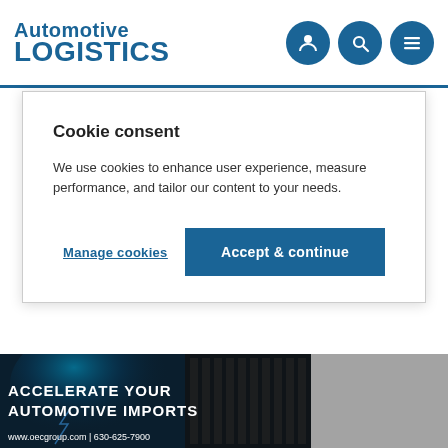Automotive LOGISTICS
Cookie consent
We use cookies to enhance user experience, measure performance, and tailor our content to your needs.
Manage cookies | Accept & continue
[Figure (photo): Advertisement banner: dark automotive/industrial background with car headlight and server racks. Text reads: ACCELERATE YOUR AUTOMOTIVE IMPORTS. www.oecgroup.com | 630-625-7900]